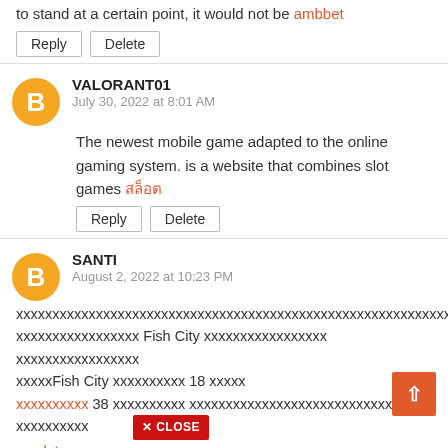to stand at a certain point, it would not be ambbet
Reply  Delete
VALORANT01
July 30, 2022 at 8:01 AM
The newest mobile game adapted to the online gaming system. is a website that combines slot games สล็อต
Reply  Delete
SANTI
August 2, 2022 at 10:23 PM
xxxxxxxxxxxxxxxxxxxxxxxxxxxxxxxxxxxxxxxxxxxxxxxxxxxxxxx xxxxxxxxxxxxxxxxx Fish City xxxxxxxxxxxxxxxxx xxxxxxxxxxxxxxxxx xxxxxFish City xxxxxxxxxx 18 xxxxx xxxxxxxxxx 38 xxxxxxxxxx xxxxxxxxxxxxxxxxxxxxxxxxxxxx xxx xxxxxxxxxx [CLOSE] pg slotxxxxxxxxxxxxxxxxxxxxxxxxxxxxxxxxxxxxxxxxxx xxxx xxxxxxxxxxxxxx Fish City xxxxxxxxxxxxxxxxxxxxxxxx xxxxxxxxxxxxxxxxxxxxxx 3 xxxxx xxxxxxxxxxxxxxxxxxxxx x xxxx xxxxxxxxxxxxxxxxxxxxxxxxxxxxxxxxxxxxxx 24 น.